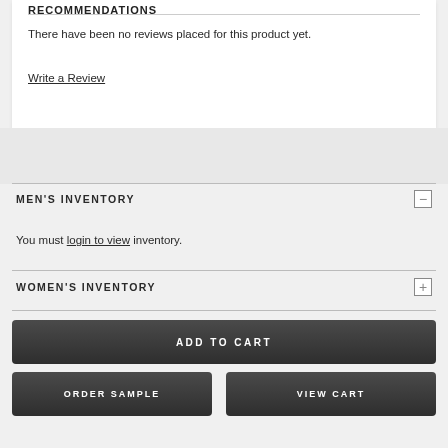RECOMMENDATIONS
There have been no reviews placed for this product yet.
Write a Review
MEN'S INVENTORY
You must login to view inventory.
WOMEN'S INVENTORY
ADD TO CART
ORDER SAMPLE
VIEW CART